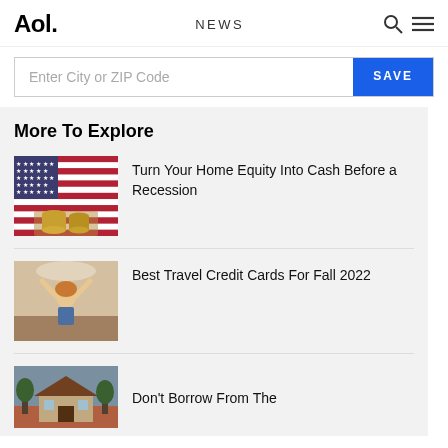Aol. NEWS
Enter City or ZIP Code  SAVE
More To Explore
[Figure (photo): American flag with stacks of coins in front]
Turn Your Home Equity Into Cash Before a Recession
[Figure (photo): Young woman with arms raised outdoors]
Best Travel Credit Cards For Fall 2022
[Figure (photo): House exterior with trees]
Don't Borrow From The